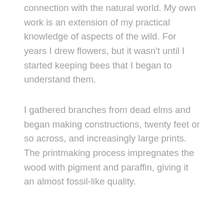connection with the natural world. My own work is an extension of my practical knowledge of aspects of the wild. For years I drew flowers, but it wasn't until I started keeping bees that I began to understand them.
I gathered branches from dead elms and began making constructions, twenty feet or so across, and increasingly large prints. The printmaking process impregnates the wood with pigment and paraffin, giving it an almost fossil-like quality.